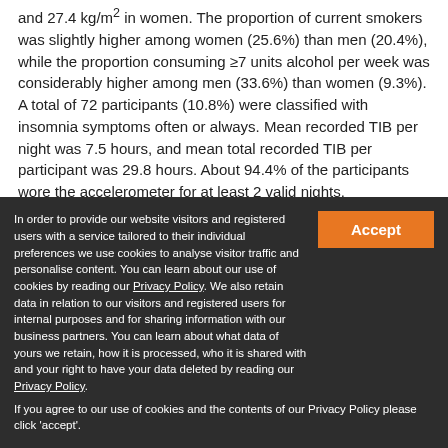and 27.4 kg/m² in women. The proportion of current smokers was slightly higher among women (25.6%) than men (20.4%), while the proportion consuming ≥7 units alcohol per week was considerably higher among men (33.6%) than women (9.3%). A total of 72 participants (10.8%) were classified with insomnia symptoms often or always. Mean recorded TIB per night was 7.5 hours, and mean total recorded TIB per participant was 29.8 hours. About 94.4% of the participants wore the accelerometer for at least 2 valid nights.
[Figure (table-as-image): Thumbnail image of Table 1 showing characteristics of study population stratified by sex, age, and body mass index]
Table 1 Characteristics of study population stratified by sex, age, and body mass index
In order to provide our website visitors and registered users with a service tailored to their individual preferences we use cookies to analyse visitor traffic and personalise content. You can learn about our use of cookies by reading our Privacy Policy. We also retain data in relation to our visitors and registered users for internal purposes and for sharing information with our business partners. You can learn about what data of yours we retain, how it is processed, who it is shared with and your right to have your data deleted by reading our Privacy Policy.
If you agree to our use of cookies and the contents of our Privacy Policy please click 'accept'.